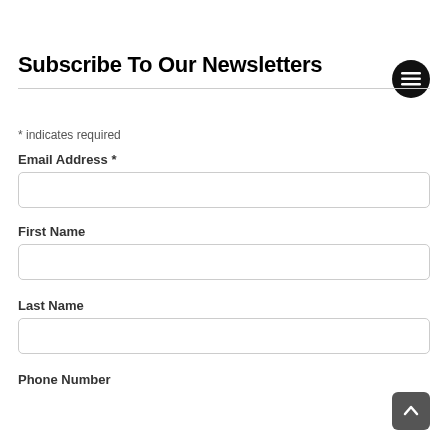Subscribe To Our Newsletters
* indicates required
Email Address *
First Name
Last Name
Phone Number